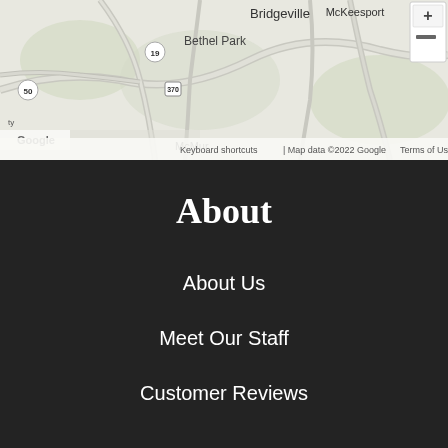[Figure (map): Google Maps screenshot showing Bridgeville, Bethel Park, McKeesport area near Pittsburgh, PA. Shows roads, route markers (50, 19, 370), and location labels including McMurray. Map data ©2022 Google.]
About
About Us
Meet Our Staff
Customer Reviews
Our Insurance Carriers